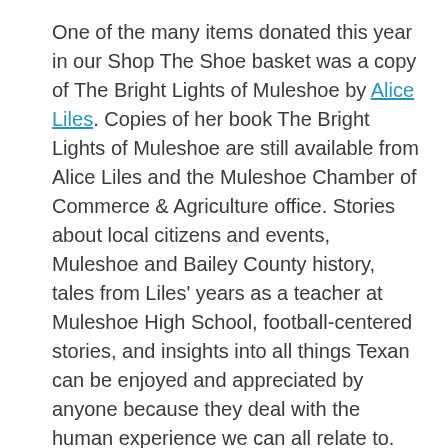One of the many items donated this year in our Shop The Shoe basket was a copy of The Bright Lights of Muleshoe by Alice Liles. Copies of her book The Bright Lights of Muleshoe are still available from Alice Liles and the Muleshoe Chamber of Commerce & Agriculture office. Stories about local citizens and events, Muleshoe and Bailey County history, tales from Liles' years as a teacher at Muleshoe High School, football-centered stories, and insights into all things Texan can be enjoyed and appreciated by anyone because they deal with the human experience we can all relate to. Agaves, cactus, and succulents are also available for purchase from Alice. A variety of succulent dish gardens and individual plants can also be purchased. Contact Alice through her blog at www.aliceliles.com , on Facebook ,or call 806-946-7569 for more information. Thank you Alice for your continuous support throughout our community and for the chamber!